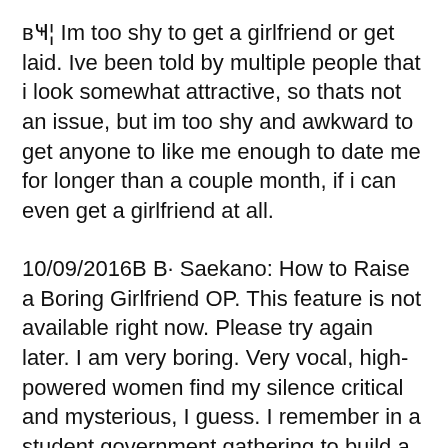в҃¦ Im too shy to get a girlfriend or get laid. Ive been told by multiple people that i look somewhat attractive, so thats not an issue, but im too shy and awkward to get anyone to like me enough to date me for longer than a couple month, if i can even get a girlfriend at all.
10/09/2016В В· Saekano: How to Raise a Boring Girlfriend OP. This feature is not available right now. Please try again later. I am very boring. Very vocal, high-powered women find my silence critical and mysterious, I guess. I remember in a student government gathering to build a float, this incredibly beautiful woman was flirting with me. I was taken